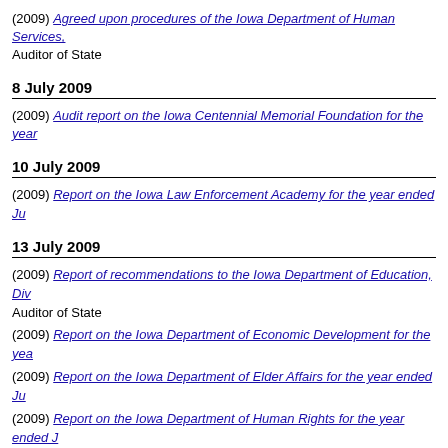(2009) Agreed upon procedures of the Iowa Department of Human Services, Auditor of State
8 July 2009
(2009) Audit report on the Iowa Centennial Memorial Foundation for the year...
10 July 2009
(2009) Report on the Iowa Law Enforcement Academy for the year ended Ju...
13 July 2009
(2009) Report of recommendations to the Iowa Department of Education, Div... Auditor of State
(2009) Report on the Iowa Department of Economic Development for the yea...
(2009) Report on the Iowa Department of Elder Affairs for the year ended Ju...
(2009) Report on the Iowa Department of Human Rights for the year ended J...
(2009) Report on the Iowa Department of Public Defense for the year ended...
(2009) Report on the Iowa Office of Energy Independence for the year ended...